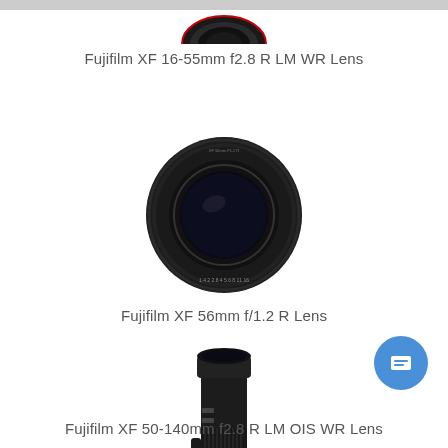[Figure (photo): Partial view of Fujifilm XF 16-55mm f2.8 R LM WR Lens at top of page]
Fujifilm XF 16-55mm f2.8 R LM WR Lens
[Figure (photo): Fujifilm XF 56mm f/1.2 R Lens — black circular camera lens, front view]
Fujifilm XF 56mm f/1.2 R Lens
[Figure (photo): Fujifilm XF 50-140mm f2.8 R LM OIS WR Lens — black telephoto lens, side view]
Fujifilm XF 50-140mm f2.8 R LM OIS WR Lens